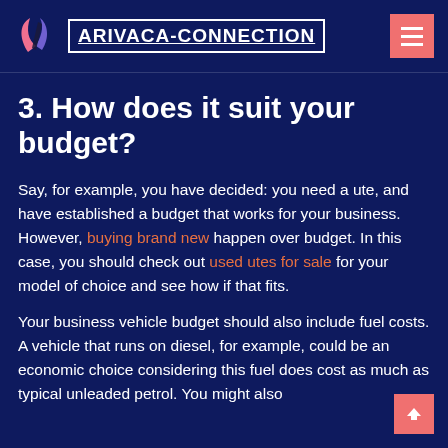ARIVACA-CONNECTION
3. How does it suit your budget?
Say, for example, you have decided: you need a ute, and have established a budget that works for your business. However, buying brand new happen over budget. In this case, you should check out used utes for sale for your model of choice and see how if that fits.
Your business vehicle budget should also include fuel costs. A vehicle that runs on diesel, for example, could be an economic choice considering this fuel does cost as much as typical unleaded petrol. You might also